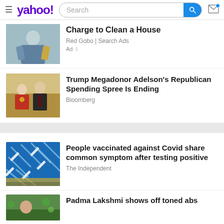Yahoo! [Search bar] [Mail icon]
Charge to Clean a House
Red Gobo | Search Ads
Ad
Trump Megadonor Adelson's Republican Spending Spree Is Ending
Bloomberg
People vaccinated against Covid share common symptom after testing positive
The Independent
Padma Lakshmi shows off toned abs